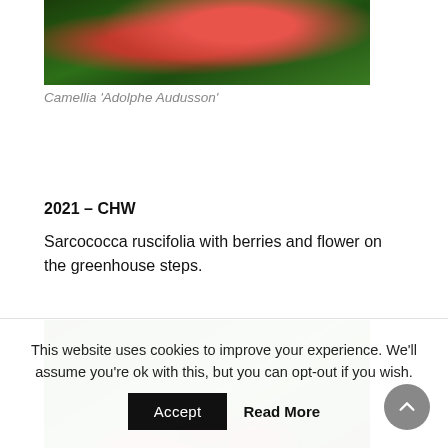[Figure (photo): Close-up photo of a pink Camellia flower on branches against dark background]
Camellia 'Adolphe Audusson'
2021 – CHW
Sarcococca ruscifolia with berries and flower on the greenhouse steps.
[Figure (photo): Close-up photo of Sarcococca ruscifolia showing dark red berries and small white flowers among glossy green leaves]
This website uses cookies to improve your experience. We'll assume you're ok with this, but you can opt-out if you wish.